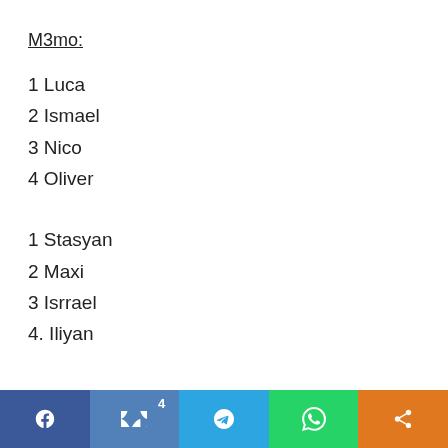M3mo:
1 Luca
2 Ismael
3 Nico
4 Oliver
1 Stasyan
2 Maxi
3 Isrrael
4. Iliyan
Dav:
Social share bar: Facebook, VK (4), Telegram, WhatsApp, Share